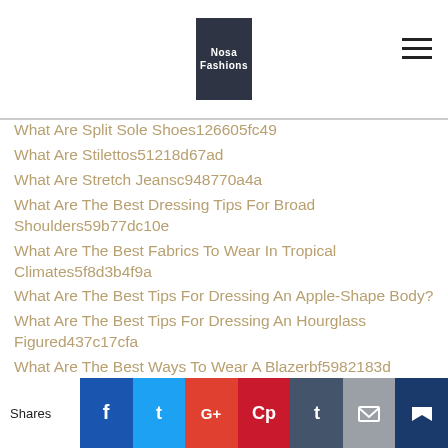Nosa Fashions
What Are Split Sole Shoes126605fc49
What Are Stilettos51218d67ad
What Are Stretch Jeansc948770a4a
What Are The Best Dressing Tips For Broad Shoulders59b77dc10e
What Are The Best Fabrics To Wear In Tropical Climates5f8d3b4f9a
What Are The Best Tips For Dressing An Apple-Shape Body?
What Are The Best Tips For Dressing An Hourglass Figured437c17cfa
What Are The Best Ways To Wear A Blazerbf5982183d
What Are The Different Types Of Custom Fitted Hatsdd9f254eb3
Shares  f  t  G+  p  t  mail  crown